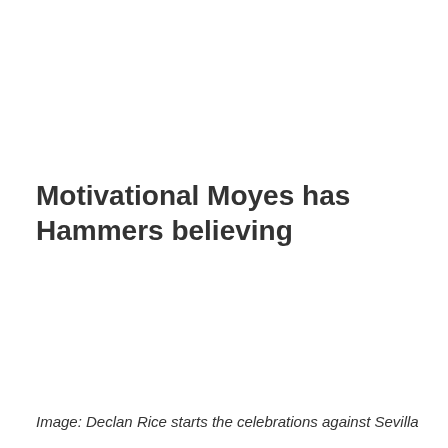Motivational Moyes has Hammers believing
Image: Declan Rice starts the celebrations against Sevilla